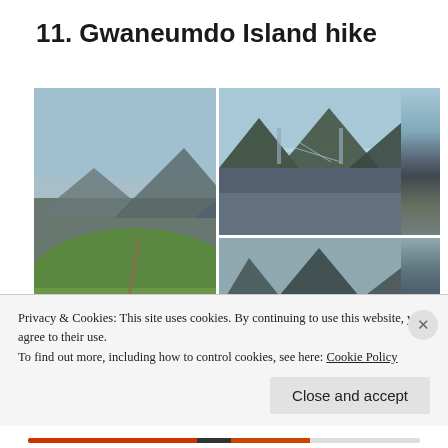11. Gwaneumdo Island hike
[Figure (photo): Three photos of Gwaneumdo Island: top-left shows a coastal view with a suspension bridge between rocky cliffs, bottom-left shows an aerial view of a bay with clear turquoise water and rocky coastline, and a large right photo shows a green hillside hiking trail with rocky sea stacks and mountains in the background.]
Privacy & Cookies: This site uses cookies. By continuing to use this website, you agree to their use.
To find out more, including how to control cookies, see here: Cookie Policy
Close and accept